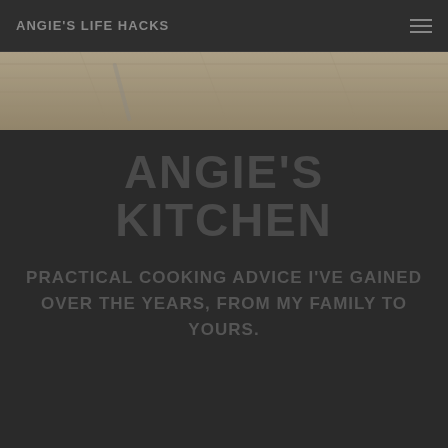ANGIE'S LIFE HACKS
[Figure (photo): Overhead photo of a light wood plank surface, likely a kitchen cutting board or table, with soft natural lighting. Partial view of a kitchen utensil visible.]
ANGIE'S KITCHEN
PRACTICAL COOKING ADVICE I'VE GAINED OVER THE YEARS, FROM MY FAMILY TO YOURS.